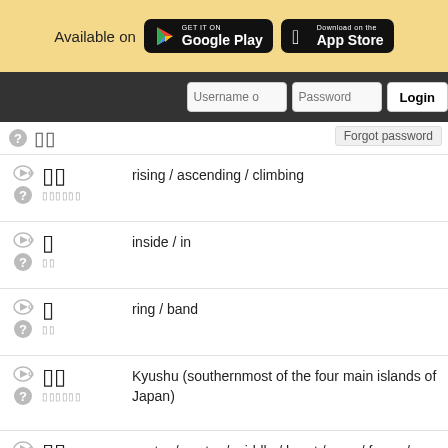[Figure (screenshot): App store banner with Google Play and App Store buttons on a yellow background]
[Figure (screenshot): Login bar with Username, Password fields and Login button]
rising / ascending / climbing
inside / in
ring / band
Kyushu (southernmost of the four main islands of Japan)
center / centre / middle / heart / core / focus / pivot / emphasis / balance
action / activity